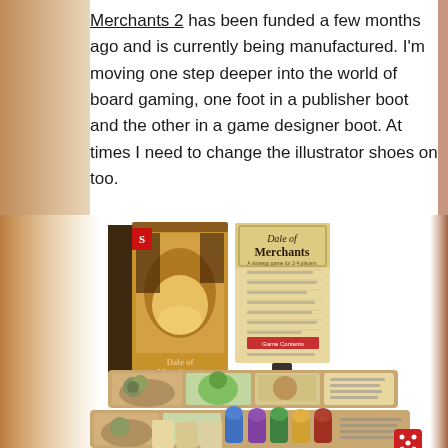Merchants 2 has been funded a few months ago and is currently being manufactured. I'm moving one step deeper into the world of board gaming, one foot in a publisher boot and the other in a game designer boot. At times I need to change the illustrator shoes on too.
[Figure (photo): Product photo of Dale of Merchants board game showing the box, rulebook, and game components including player boards with illustrated anthropomorphic animal characters and colorful wooden pieces, plus a red die.]